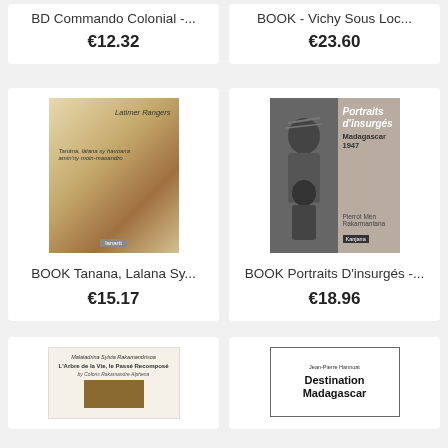BD Commando Colonial -...
€12.32
BOOK - Vichy Sous Loc...
€23.60
[Figure (photo): Book cover: Tanana, Lalana Sy... by Latimer Rangers, abstract watercolor art]
BOOK Tanana, Lalana Sy...
€15.17
[Figure (photo): Book cover: Portraits d'insurgés - Madagascar 1947, black and white photo of elder and child]
BOOK Portraits D'insurgés -...
€18.96
[Figure (photo): Book cover: L'Arbre de la Vie, le Passé Recomposé by Malaladrina Sylvia Rakamandrisoa]
[Figure (photo): Book cover: Destination Madagascar by Jean-Pierre Hannoat]